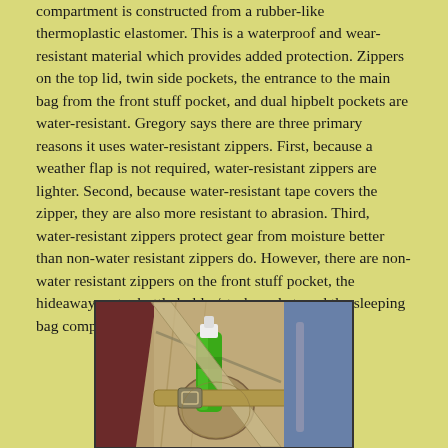compartment is constructed from a rubber-like thermoplastic elastomer. This is a waterproof and wear-resistant material which provides added protection. Zippers on the top lid, twin side pockets, the entrance to the main bag from the front stuff pocket, and dual hipbelt pockets are water-resistant. Gregory says there are three primary reasons it uses water-resistant zippers. First, because a weather flap is not required, water-resistant zippers are lighter. Second, because water-resistant tape covers the zipper, they are also more resistant to abrasion. Third, water-resistant zippers protect gear from moisture better than non-water resistant zippers do. However, there are non-water resistant zippers on the front stuff pocket, the hideaway water bottle holder/stash pocket, and the sleeping bag compartment.
[Figure (photo): Photo of a backpack hipbelt area showing a green water bottle in a side/stash pocket, with tan/khaki bag fabric, straps, and a blue bag or item in the background.]